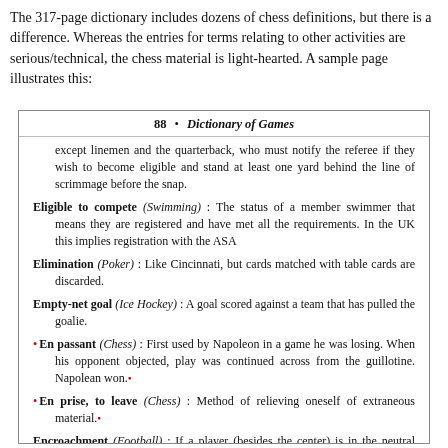The 317-page dictionary includes dozens of chess definitions, but there is a difference. Whereas the entries for terms relating to other activities are serious/technical, the chess material is light-hearted. A sample page illustrates this:
88 • Dictionary of Games
except linemen and the quarterback, who must notify the referee if they wish to become eligible and stand at least one yard behind the line of scrimmage before the snap.
Eligible to compete (Swimming) : The status of a member swimmer that means they are registered and have met all the requirements. In the UK this implies registration with the ASA
Elimination (Poker) : Like Cincinnati, but cards matched with table cards are discarded.
Empty-net goal (Ice Hockey) : A goal scored against a team that has pulled the goalie.
En passant (Chess) : First used by Napoleon in a game he was losing. When his opponent objected, play was continued across from the guillotine. Napolean won.
En prise, to leave (Chess) : Method of relieving oneself of extraneous material.
Encroachment (Football) : If a player (besides the center) is in the neutral zone and contact occurs prior to the snap; a foul punishable by a 5-yard penalty.